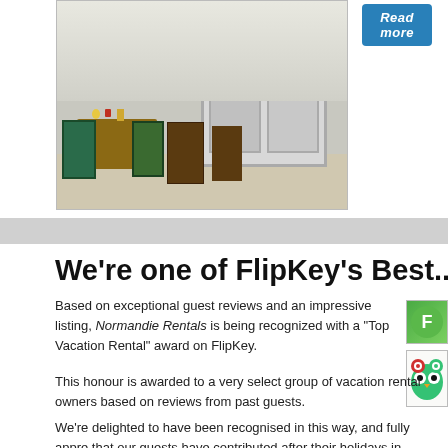[Figure (photo): Outdoor patio/terrace with wooden furniture (chairs and table), green seat cushions, and white French doors/windows in background]
[Figure (other): Blue 'Read more' button]
We're one of FlipKey's Best... again
Based on exceptional guest reviews and an impressive listing, Normandie Rentals is being recognized with a "Top Vacation Rental" award on FlipKey.
[Figure (logo): FlipKey/TripAdvisor green logo badge]
[Figure (logo): TripAdvisor owl logo badge]
This honour is awarded to a very select group of vacation rental owners based on reviews from past guests.
We're delighted to have been recognised in this way, and fully appre... that our guests have contributed after their holidays in Normandy.